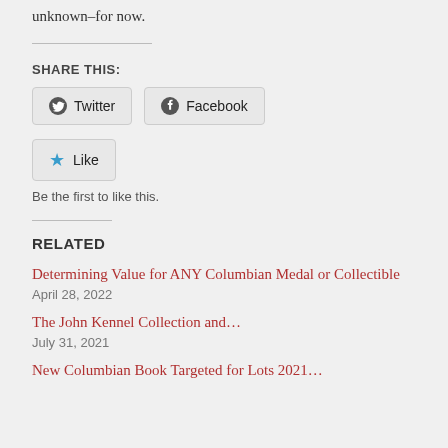unknown–for now.
SHARE THIS:
Twitter  Facebook
Like
Be the first to like this.
RELATED
Determining Value for ANY Columbian Medal or Collectible
April 28, 2022
The John Kennel Collection and…
July 31, 2021
New Columbian Book Targeted for Lots 2021…